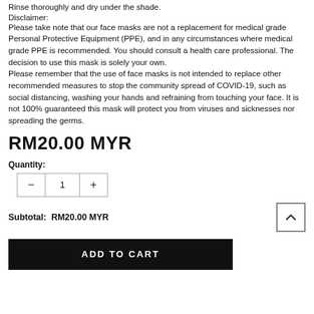Rinse thoroughly and dry under the shade.
Disclaimer:
Please take note that our face masks are not a replacement for medical grade Personal Protective Equipment (PPE), and in any circumstances where medical grade PPE is recommended. You should consult a health care professional. The decision to use this mask is solely your own.
Please remember that the use of face masks is not intended to replace other recommended measures to stop the community spread of COVID-19, such as social distancing, washing your hands and refraining from touching your face. It is not 100% guaranteed this mask will protect you from viruses and sicknesses nor spreading the germs.
RM20.00 MYR
Quantity:
Subtotal:  RM20.00 MYR
ADD TO CART